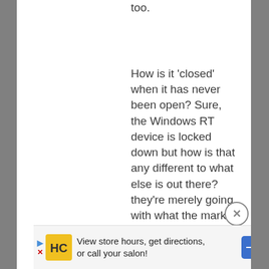too.
How is it 'closed' when it has never been open? Sure, the Windows RT device is locked down but how is that any different to what else is out there? they're merely going with what the market expects and for most people the tablet is a device that allows them to get from point A to point B with the idea of tweaking being of no real concern to the average user or
[Figure (other): Advertisement banner: HC (hair salon) logo with text 'View store hours, get directions, or call your salon!' and a navigation arrow icon. Includes forward/close arrow controls on the left.]